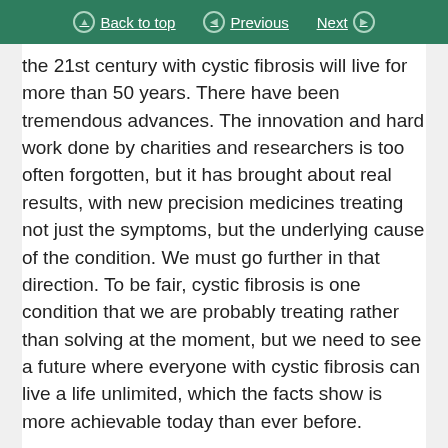Back to top | Previous | Next
the 21st century with cystic fibrosis will live for more than 50 years. There have been tremendous advances. The innovation and hard work done by charities and researchers is too often forgotten, but it has brought about real results, with new precision medicines treating not just the symptoms, but the underlying cause of the condition. We must go further in that direction. To be fair, cystic fibrosis is one condition that we are probably treating rather than solving at the moment, but we need to see a future where everyone with cystic fibrosis can live a life unlimited, which the facts show is more achievable today than ever before.
Unfortunately, precision medicines are expensive and, as my hon. Friend the Member for Upper Bann